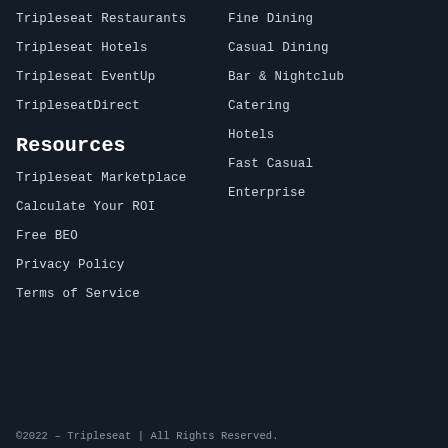Tripleseat Restaurants
Tripleseat Hotels
Tripleseat EventUp
TripleseatDirect
Resources
Tripleseat Marketplace
Calculate Your ROI
Free BEO
Privacy Policy
Terms of Service
Fine Dining
Casual Dining
Bar & Nightclub
Catering
Hotels
Fast Casual
Enterprise
©2022 – Tripleseat | All Rights Reserved.